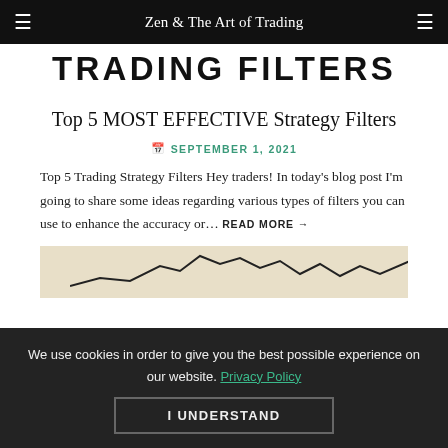Zen & The Art of Trading
TRADING FILTERS
Top 5 MOST EFFECTIVE Strategy Filters
SEPTEMBER 1, 2021
Top 5 Trading Strategy Filters Hey traders! In today's blog post I'm going to share some ideas regarding various types of filters you can use to enhance the accuracy or… READ MORE →
[Figure (illustration): Partial view of a financial chart image on beige/tan background]
We use cookies in order to give you the best possible experience on our website. Privacy Policy
I UNDERSTAND